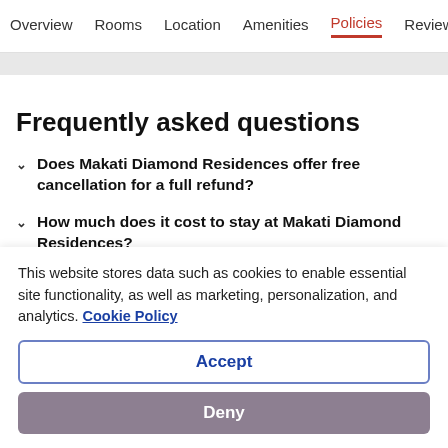Overview  Rooms  Location  Amenities  Policies  Reviews
Frequently asked questions
Does Makati Diamond Residences offer free cancellation for a full refund?
How much does it cost to stay at Makati Diamond Residences?
This website stores data such as cookies to enable essential site functionality, as well as marketing, personalization, and analytics. Cookie Policy
Accept
Deny